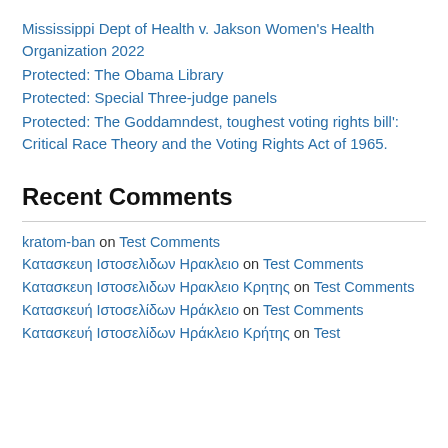Mississippi Dept of Health v. Jakson Women's Health Organization 2022
Protected: The Obama Library
Protected: Special Three-judge panels
Protected: The Goddamndest, toughest voting rights bill': Critical Race Theory and the Voting Rights Act of 1965.
Recent Comments
kratom-ban on Test Comments
Κατασκευη Ιστοσελιδων Ηρακλειο on Test Comments
Κατασκευη Ιστοσελιδων Ηρακλειο Κρητης on Test Comments
Κατασκευή Ιστοσελίδων Ηράκλειο on Test Comments
Κατασκευή Ιστοσελίδων Ηράκλειο Κρήτης on Test